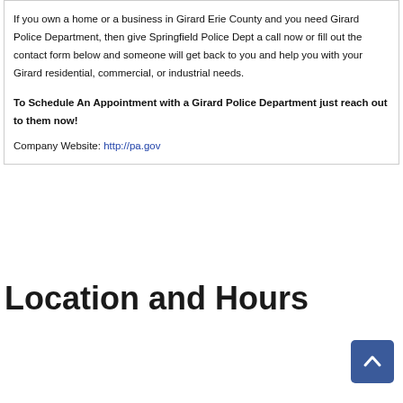If you own a home or a business in Girard Erie County and you need Girard Police Department, then give Springfield Police Dept a call now or fill out the contact form below and someone will get back to you and help you with your Girard residential, commercial, or industrial needs.
To Schedule An Appointment with a Girard Police Department just reach out to them now!
Company Website: http://pa.gov
Location and Hours